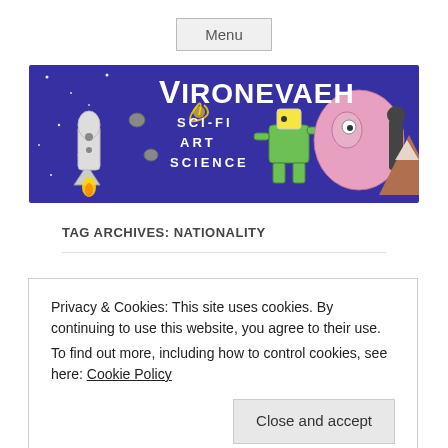Menu
[Figure (illustration): Vironevaeh banner with sci-fi art: rocket, galaxy, robot characters on purple background. Text reads VIRONEVAEH SCI-FI ART SCIENCE]
TAG ARCHIVES: NATIONALITY
Privacy & Cookies: This site uses cookies. By continuing to use this website, you agree to their use.
To find out more, including how to control cookies, see here: Cookie Policy
Close and accept